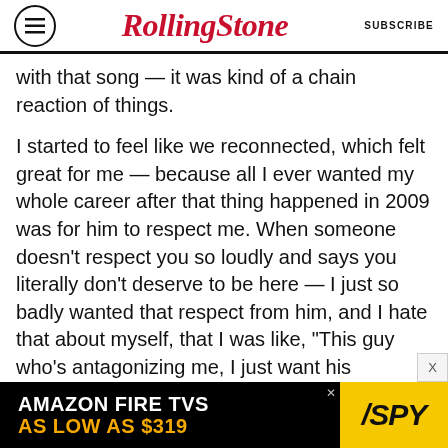RollingStone | SUBSCRIBE
with that song — it was kind of a chain reaction of things.
I started to feel like we reconnected, which felt great for me — because all I ever wanted my whole career after that thing happened in 2009 was for him to respect me. When someone doesn't respect you so loudly and says you literally don't deserve to be here — I just so badly wanted that respect from him, and I hate that about myself, that I was like, “This guy who’s antagonizing me, I just want his approval.” But that’s where I was. And so we'd go to dinner and stuff. And I was so happy,
[Figure (infographic): Amazon Fire TVs advertisement banner: 'AMAZON FIRE TVS AS LOW AS $319' with SPY logo on yellow background]